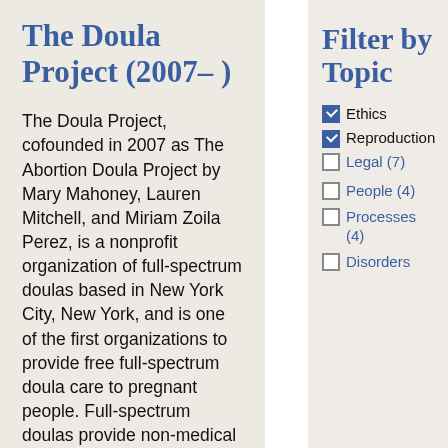The Doula Project (2007– )
The Doula Project, cofounded in 2007 as The Abortion Doula Project by Mary Mahoney, Lauren Mitchell, and Miriam Zoila Perez, is a nonprofit organization of full-spectrum doulas based in New York City, New York, and is one of the first organizations to provide free full-spectrum doula care to pregnant people. Full-spectrum doulas provide non-medical physical, emotional, and informational support to
Filter by Topic
Ethics (checked)
Reproduction (checked)
Legal (7)
People (4)
Processes (4)
Disorders